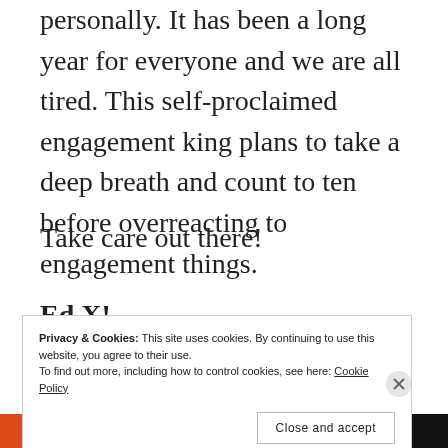personally. It has been a long year for everyone and we are all tired. This self-proclaimed engagement king plans to take a deep breath and count to ten before overreacting to engagement things.
Take care out there!
Ed X!
Privacy & Cookies: This site uses cookies. By continuing to use this website, you agree to their use. To find out more, including how to control cookies, see here: Cookie Policy
Close and accept